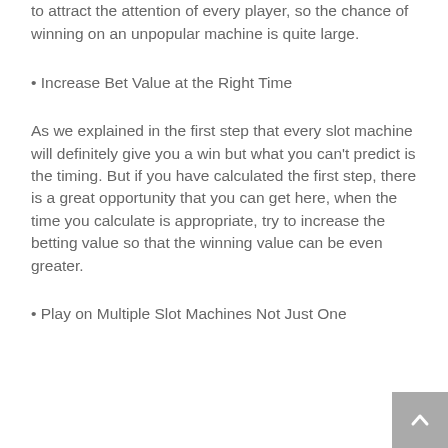to attract the attention of every player, so the chance of winning on an unpopular machine is quite large.
• Increase Bet Value at the Right Time
As we explained in the first step that every slot machine will definitely give you a win but what you can't predict is the timing. But if you have calculated the first step, there is a great opportunity that you can get here, when the time you calculate is appropriate, try to increase the betting value so that the winning value can be even greater.
• Play on Multiple Slot Machines Not Just One